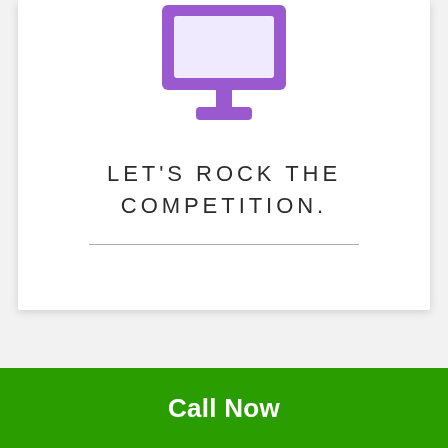[Figure (illustration): Purple desktop computer monitor icon with stand]
LET'S ROCK THE COMPETITION.
Call Now